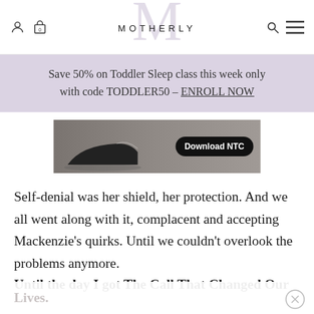MOTHERLY
Save 50% on Toddler Sleep class this week only with code TODDLER50 – ENROLL NOW
[Figure (photo): Advertisement image showing shoes with a dark 'Download NTC' button]
Self-denial was her shield, her protection. And we all went along with it, complacent and accepting Mackenzie's quirks. Until we couldn't overlook the problems anymore.
Until the day I got The Call That Changed Our Lives.